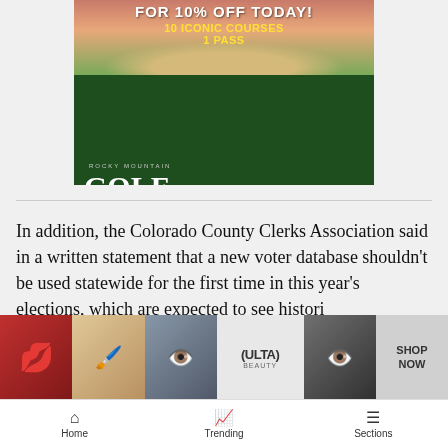[Figure (illustration): Rocky Mountain Golf Card advertisement banner showing golf course with bunker, sunset sky, '10 ICONIC COURSES 1 PASS' text in yellow, 'ROCKY MOUNTAIN GOLF CARD' branding, and 'Click Here To Purchase' green button.]
In addition, the Colorado County Clerks Association said in a written statement that a new voter database shouldn’t be used statewide for the first time in this year’s elections, which are expected to see historic turnou... develo...
[Figure (photo): Ulta Beauty advertisement banner showing makeup-themed images: red lips, makeup brush, eye close-up, Ulta logo, eye with dark makeup, and 'SHOP NOW' text.]
Home   Trending   Sections